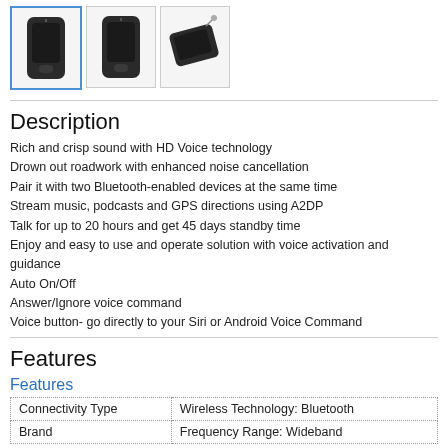[Figure (photo): Three product thumbnail images of a black Bluetooth device: front view (selected, blue border), front view (unselected), and flat/angled view with lanyard.]
Description
Rich and crisp sound with HD Voice technology
Drown out roadwork with enhanced noise cancellation
Pair it with two Bluetooth-enabled devices at the same time
Stream music, podcasts and GPS directions using A2DP
Talk for up to 20 hours and get 45 days standby time
Enjoy and easy to use and operate solution with voice activation and guidance
Auto On/Off
Answer/Ignore voice command
Voice button- go directly to your Siri or Android Voice Command
Features
Features
| Connectivity Type | Wireless Technology: Bluetooth |
| --- | --- |
| Brand | Frequency Range: Wideband |